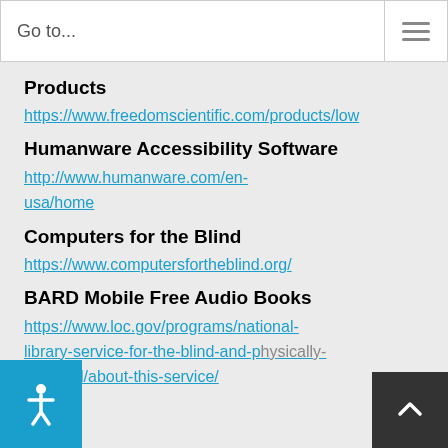Go to...
Products
https://www.freedomscientific.com/products/low
Humanware Accessibility Software
http://www.humanware.com/en-usa/home
Computers for the Blind
https://www.computersfortheblind.org/
BARD Mobile Free Audio Books
https://www.loc.gov/programs/national-library-service-for-the-blind-and-physically-disabled/about-this-service/